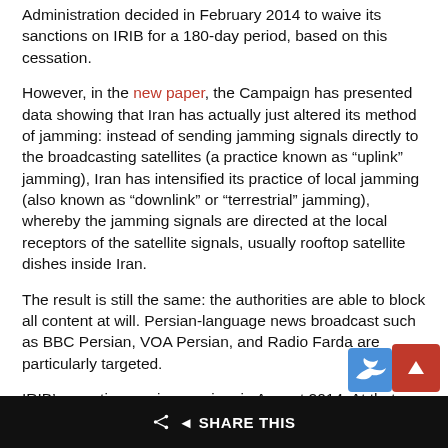Administration decided in February 2014 to waive its sanctions on IRIB for a 180-day period, based on this cessation.
However, in the new paper, the Campaign has presented data showing that Iran has actually just altered its method of jamming: instead of sending jamming signals directly to the broadcasting satellites (a practice known as “uplink” jamming), Iran has intensified its practice of local jamming (also known as “downlink” or “terrestrial” jamming), whereby the jamming signals are directed at the local receptors of the satellite signals, usually rooftop satellite dishes inside Iran.
The result is still the same: the authorities are able to block all content at will. Persian-language news broadcast such as BBC Persian, VOA Persian, and Radio Farda are particularly targeted.
IRIB’s sanctions waiver expires in August 2014. At that time the Campaign urges the US Treasury to reinstate the sanctions on IRIB in full. The sanctions on IRIB should be removed only when Iran ceases all signal jamming and IRIB completely ends its active collusion with security and
SHARE THIS